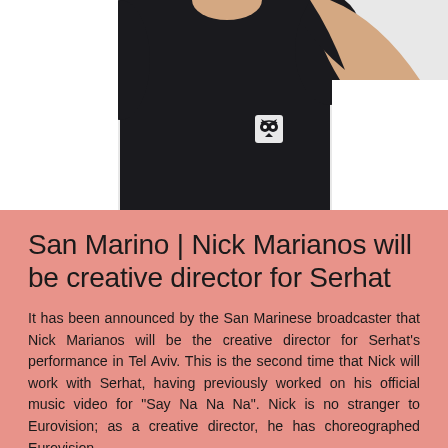[Figure (photo): A person wearing a black t-shirt with a small owl logo patch, arm raised, photographed against a white background. Only the torso and lower face/neck area are visible.]
San Marino | Nick Marianos will be creative director for Serhat
It has been announced by the San Marinese broadcaster that Nick Marianos will be the creative director for Serhat's performance in Tel Aviv. This is the second time that Nick will work with Serhat, having previously worked on his official music video for "Say Na Na Na". Nick is no stranger to Eurovision; as a creative director, he has choreographed Eurovision